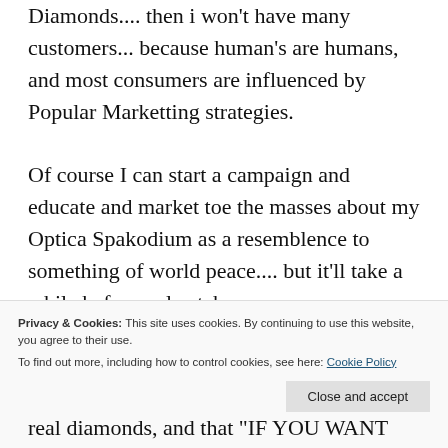Diamonds.... then i won't have many customers... because human's are humans, and most consumers are influenced by Popular Marketting strategies.
Of course I can start a campaign and educate and market toe the masses about my Optica Spakodium as a resemblence to something of world peace.... but it'll take a while before ppl catch on.
It might not be as ideal. but there are
Privacy & Cookies: This site uses cookies. By continuing to use this website, you agree to their use.
To find out more, including how to control cookies, see here: Cookie Policy
Close and accept
real diamonds, and that "IF YOU WANT